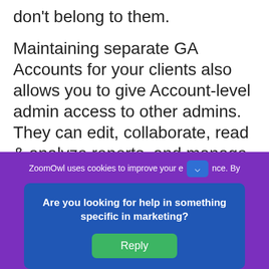don't belong to them.
Maintaining separate GA Accounts for your clients also allows you to give Account-level admin access to other admins. They can edit, collaborate, read & analyze reports, and manage other users in this way. Later, we'll see the various user privileges.
ZoomOwl uses cookies to improve your e [dropdown] nce. By
Are you looking for help in something specific in marketing?
Reply